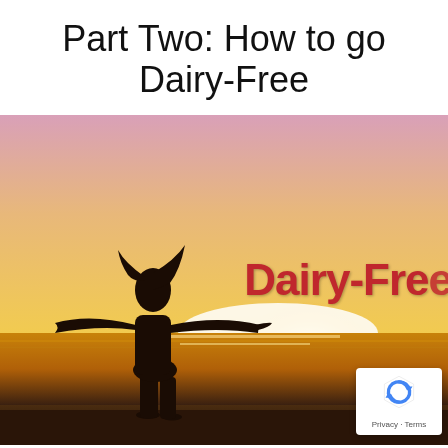Part Two: How to go Dairy-Free
[Figure (photo): A silhouette of a woman with arms outstretched against a warm sunset sky over water, with bold red text reading 'Dairy-Free' overlaid on the right side. A reCAPTCHA privacy badge appears in the bottom-right corner.]